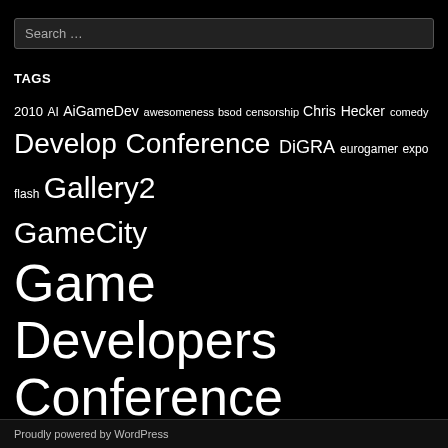Search …
TAGS
2010 AI AiGameDev awesomeness bsod censorship Chris Hecker comedy Develop Conference DiGRA eurogamer expo flash Gallery2 GameCity Game Developers Conference Game Developers Conference 2009 GDC2008 government Groundhog Day Guardian Halo history Idle Thumbs IGDA igf indie indie arcade Left 4 Dead Mass Effect modding music notes One Life Left onelifeleft Paris Party rant sci-fi sequel student surveillance this week videogames Women in Games Women In Games 2008
Proudly powered by WordPress